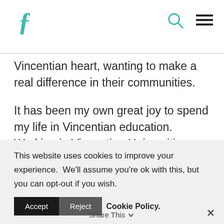F [logo] [search icon] [menu icon]
Vincentian heart, wanting to make a real difference in their communities.
It has been my own great joy to spend my life in Vincentian education.  Working in Vincentian Universities combines my love for the intellectual life with a desire to serve the poor that I myself received because I attended a Vincentian university in my youth.  My life took a
This website uses cookies to improve your experience.  We'll assume you're ok with this, but you can opt-out if you wish.
Accept   Reject   Cookie Policy.
Share This